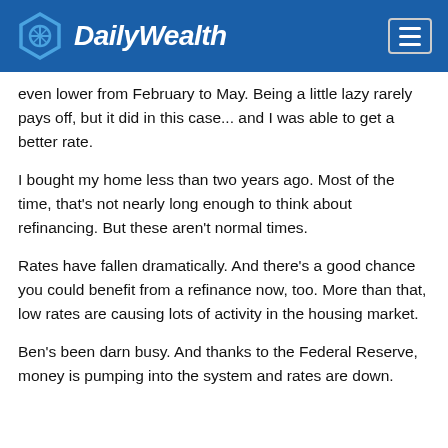DailyWealth
even lower from February to May. Being a little lazy rarely pays off, but it did in this case... and I was able to get a better rate.
I bought my home less than two years ago. Most of the time, that's not nearly long enough to think about refinancing. But these aren't normal times.
Rates have fallen dramatically. And there's a good chance you could benefit from a refinance now, too. More than that, low rates are causing lots of activity in the housing market.
Ben's been darn busy. And thanks to the Federal Reserve, money is pumping into the system and rates are down.